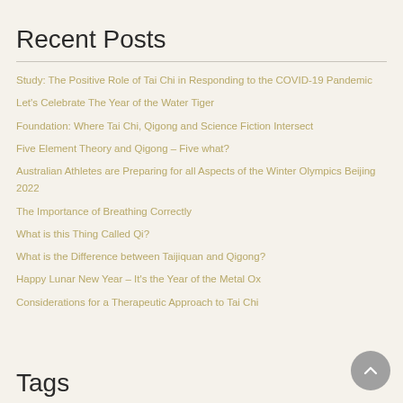Recent Posts
Study: The Positive Role of Tai Chi in Responding to the COVID-19 Pandemic
Let's Celebrate The Year of the Water Tiger
Foundation: Where Tai Chi, Qigong and Science Fiction Intersect
Five Element Theory and Qigong – Five what?
Australian Athletes are Preparing for all Aspects of the Winter Olympics Beijing 2022
The Importance of Breathing Correctly
What is this Thing Called Qi?
What is the Difference between Taijiquan and Qigong?
Happy Lunar New Year – It's the Year of the Metal Ox
Considerations for a Therapeutic Approach to Tai Chi
Tags